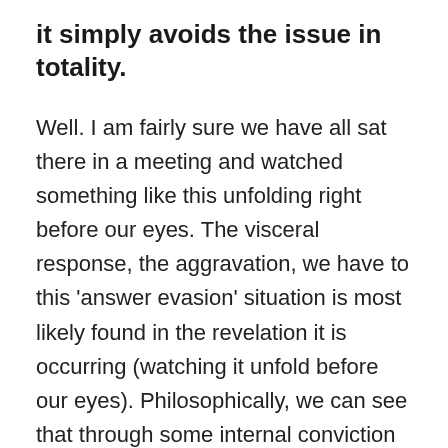it simply avoids the issue in totality.
Well. I am fairly sure we have all sat there in a meeting and watched something like this unfolding right before our eyes. The visceral response, the aggravation, we have to this 'answer evasion' situation is most likely found in the revelation it is occurring (watching it unfold before our eyes). Philosophically, we can see that through some internal conviction to retain something they feel like they should own <their reputation, their title, their perceived intelligence, their